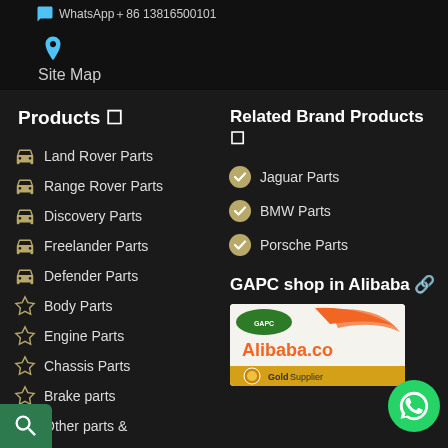WhatsApp +86 13816500101
Site Map
Products 🔧
Land Rover Parts
Range Rover Parts
Discovery Parts
Freelander Parts
Defender Parts
Body Parts
Engine Parts
Chassis Parts
Brake parts
Other parts &
Related Brand Products 🔧
Jaguar Parts
BMW Parts
Porsche Parts
GAPC shop in Alibaba 🔗
[Figure (logo): Alibaba.com Gold Supplier logo with GAPC branding]